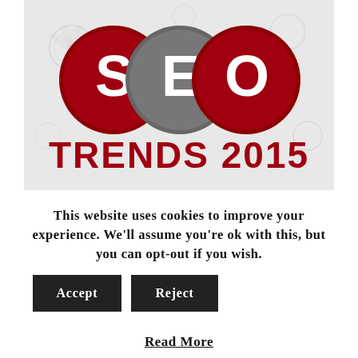[Figure (illustration): SEO Trends 2015 graphic with three circular badges: red S, grey E, red O, and bold red text 'TRENDS 2015' on a light grey background with gear/pattern motifs]
SEO is always changing and as every year turns, new trends and techniques come in and keep going all through. The year 2014 had several SEO trends that helped many websites turn the tables and make huge revenues; however, there are SEO trends dominating 2015 already and some of those
This website uses cookies to improve your experience. We'll assume you're ok with this, but you can opt-out if you wish.
Read More